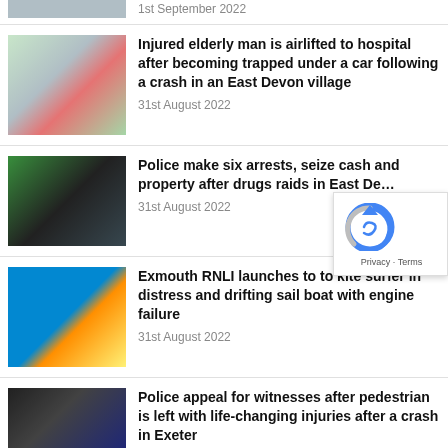[Figure (photo): Partial thumbnail of previous news item, cropped at top]
1st September 2022
[Figure (photo): Air ambulance helicopter with paramedics in red uniforms on ground]
Injured elderly man is airlifted to hospital after becoming trapped under a car following a crash in an East Devon village
31st August 2022
[Figure (photo): Police officers in dark uniforms walking along a path near trees]
Police make six arrests, seize cash and property after drugs raids in East De…
31st August 2022
[Figure (photo): RNLI orange inflatable lifeboat on water with crew members]
Exmouth RNLI launches to to kite surfer in distress and drifting sail boat with engine failure
31st August 2022
[Figure (photo): Police officer in dark uniform with POLICE label visible]
Police appeal for witnesses after pedestrian is left with life-changing injuries after a crash in Exeter